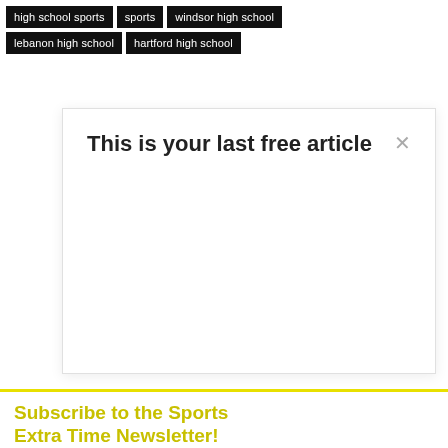high school sports
sports
windsor high school
lebanon high school
hartford high school
This is your last free article
Subscribe to the Sports Extra Time Newsletter!